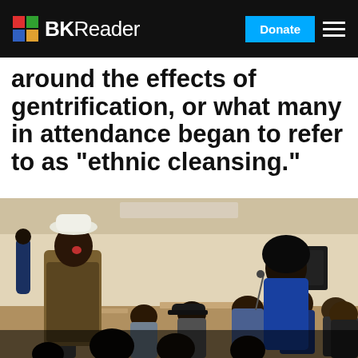BKReader — Donate
around the effects of gentrification, or what many in attendance began to refer to as “ethnic cleansing.”
[Figure (photo): A community meeting or town hall event in a banquet/event room. A woman wearing a white hat and floral outfit stands and speaks in the foreground. Several attendees are seated around tables. Another woman in a blue floral top stands near audio equipment on the right side.]